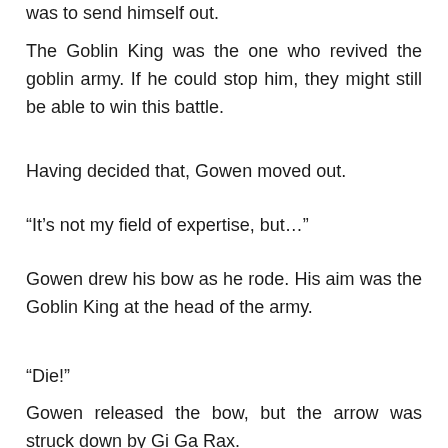was to send himself out.
The Goblin King was the one who revived the goblin army. If he could stop him, they might still be able to win this battle.
Having decided that, Gowen moved out.
“It’s not my field of expertise, but…”
Gowen drew his bow as he rode. His aim was the Goblin King at the head of the army.
“Die!”
Gowen released the bow, but the arrow was struck down by Gi Ga Rax.